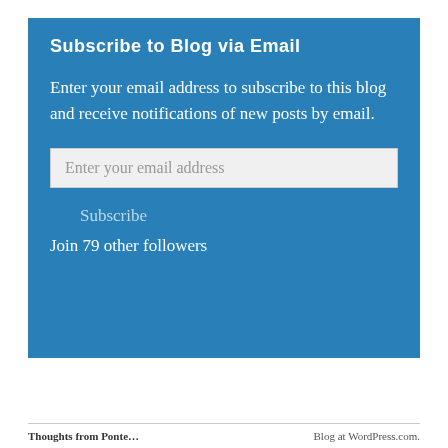Subscribe to Blog via Email
Enter your email address to subscribe to this blog and receive notifications of new posts by email.
Enter your email address
Subscribe
Join 79 other followers
Thoughts from Ponte...    Blog at WordPress.com.